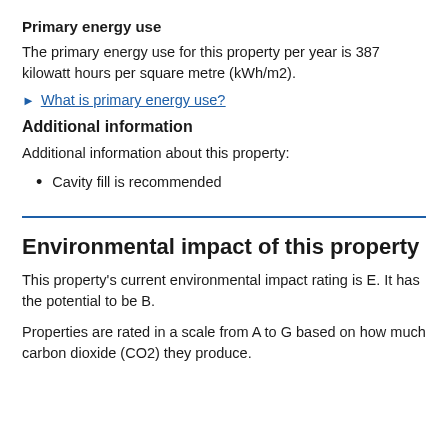Primary energy use
The primary energy use for this property per year is 387 kilowatt hours per square metre (kWh/m2).
What is primary energy use?
Additional information
Additional information about this property:
Cavity fill is recommended
Environmental impact of this property
This property's current environmental impact rating is E. It has the potential to be B.
Properties are rated in a scale from A to G based on how much carbon dioxide (CO2) they produce.